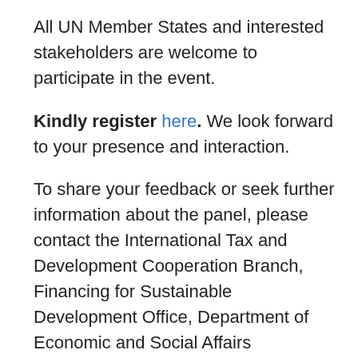All UN Member States and interested stakeholders are welcome to participate in the event.
Kindly register here. We look forward to your presence and interaction.
To share your feedback or seek further information about the panel, please contact the International Tax and Development Cooperation Branch, Financing for Sustainable Development Office, Department of Economic and Social Affairs (email: taxcommittee@un.org).
With kind regards,